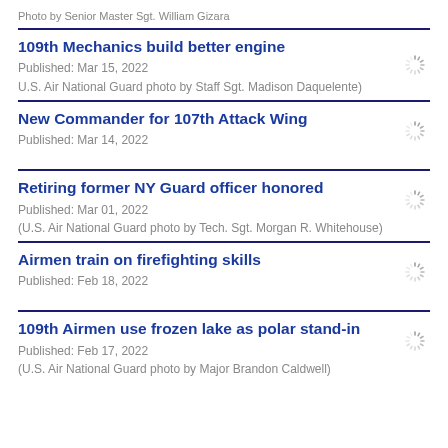Photo by Senior Master Sgt. William Gizara
109th Mechanics build better engine
Published: Mar 15, 2022
U.S. Air National Guard photo by Staff Sgt. Madison Daquelente)
New Commander for 107th Attack Wing
Published: Mar 14, 2022
Retiring former NY Guard officer honored
Published: Mar 01, 2022
(U.S. Air National Guard photo by Tech. Sgt. Morgan R. Whitehouse)
Airmen train on firefighting skills
Published: Feb 18, 2022
109th Airmen use frozen lake as polar stand-in
Published: Feb 17, 2022
(U.S. Air National Guard photo by Major Brandon Caldwell)